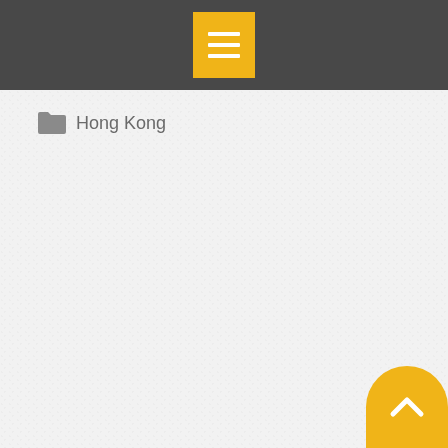[Figure (screenshot): Navigation bar with yellow menu icon containing three horizontal white lines (hamburger menu) on a dark gray background]
Hong Kong
[Figure (screenshot): Right sidebar partially visible with dark blue text items: Jo, 13, Ye, Ol, Ca, Do, Ho, Ko and a yellow vertical bar, followed by a yellow rectangle block and text items M, Ea, M, Fr, Ho. A yellow back-to-top button with chevron arrow is visible at bottom right.]